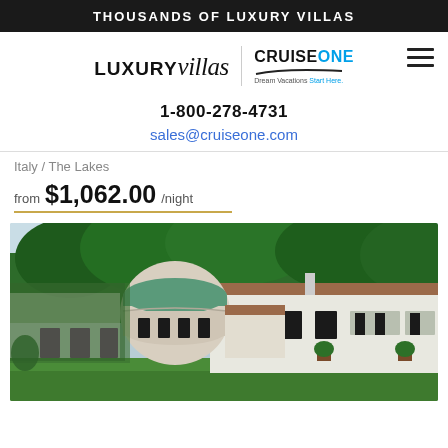THOUSANDS OF LUXURY VILLAS
[Figure (logo): LUXURYvillas logo next to CruiseOne Dream Vacations Start Here logo with hamburger menu icon]
1-800-278-4731
sales@cruiseone.com
Italy / The Lakes
from $1,062.00 /night
[Figure (photo): Exterior photo of an Italian luxury villa with terracotta roof, round rotunda feature, ivy-covered walls, white walls, and lush green trees in background, manicured lawn in foreground]